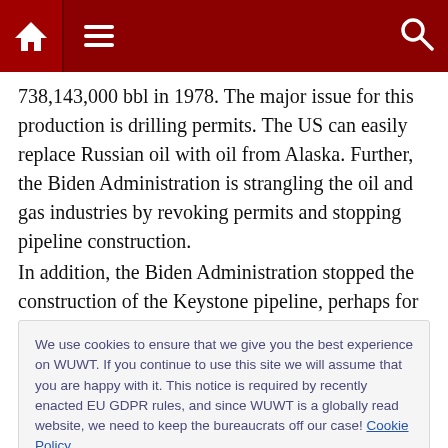[Navigation bar with home, menu, and search icons on dark red background]
738,143,000 bbl in 1978. The major issue for this production is drilling permits. The US can easily replace Russian oil with oil from Alaska. Further, the Biden Administration is strangling the oil and gas industries by revoking permits and stopping pipeline construction.
In addition, the Biden Administration stopped the construction of the Keystone pipeline, perhaps for good. This pipeline was needed to bring oil from Alberta,
We use cookies to ensure that we give you the best experience on WUWT. If you continue to use this site we will assume that you are happy with it. This notice is required by recently enacted EU GDPR rules, and since WUWT is a globally read website, we need to keep the bureaucrats off our case! Cookie Policy
colleagues are in control of US energy policy, the results